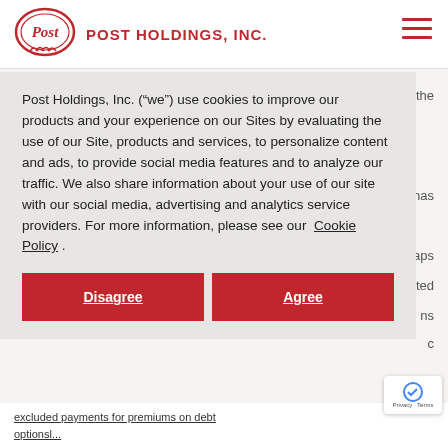POST HOLDINGS, INC.
Post Holdings, Inc. (“we”) use cookies to improve our products and your experience on our Sites by evaluating the use of our Site, products and services, to personalize content and ads, to provide social media features and to analyze our traffic. We also share information about your use of our site with our social media, advertising and analytics service providers. For more information, please see our Cookie Policy.
Disagree
Agree
excluded payments for premiums on debt optionsl...